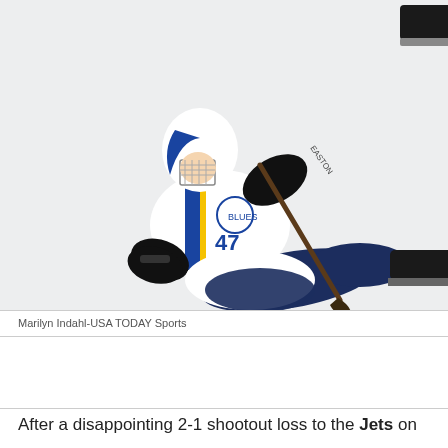[Figure (photo): A St. Louis Blues hockey player wearing white jersey with blue and gold accents (number 27) lying/sliding on the ice, holding a hockey stick. Another player's skates visible in the upper right corner.]
Marilyn Indahl-USA TODAY Sports
After a disappointing 2-1 shootout loss to the Jets on